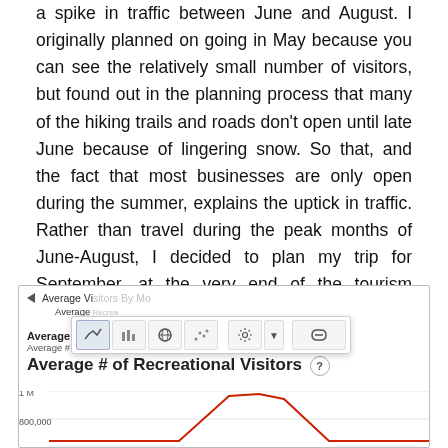a spike in traffic between June and August. I originally planned on going in May because you can see the relatively small number of visitors, but found out in the planning process that many of the hiking trails and roads don't open until late June because of lingering snow. So that, and the fact that most businesses are only open during the summer, explains the uptick in traffic. Rather than travel during the peak months of June-August, I decided to plan my trip for September, at the very end of the tourism season, when trails are still open and many would-be travelers have packed it in for the season.
[Figure (screenshot): Screenshot of a data visualization tool showing 'Average Visitors By Month' chart with toolbar overlay. A line chart titled 'Average # of Recreational Visitors' is partially visible with a red line peaking around 1M. A toolbar with chart type icons (line, bar, globe, scatter), gear/settings, and link buttons is overlaid on top. A 'Clear' button and y-axis labels '1 M' and '800,000' are visible.]